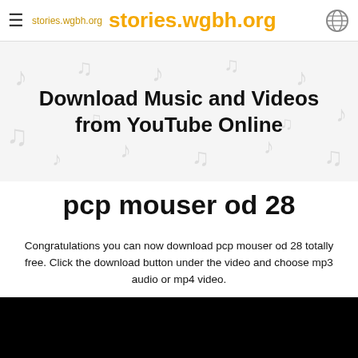stories.wgbh.org  stories.wgbh.org
Download Music and Videos from YouTube Online
pcp mouser od 28
Congratulations you can now download pcp mouser od 28 totally free. Click the download button under the video and choose mp3 audio or mp4 video.
[Figure (screenshot): Black video player area at the bottom of the page]